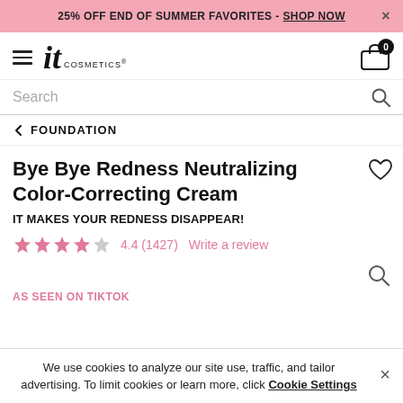25% OFF END OF SUMMER FAVORITES - SHOP NOW
[Figure (logo): IT Cosmetics logo with hamburger menu and cart icon showing badge 0]
Search
FOUNDATION
Bye Bye Redness Neutralizing Color-Correcting Cream
IT MAKES YOUR REDNESS DISAPPEAR!
4.4 (1427)  Write a review
AS SEEN ON TIKTOK
We use cookies to analyze our site use, traffic, and tailor advertising. To limit cookies or learn more, click Cookie Settings